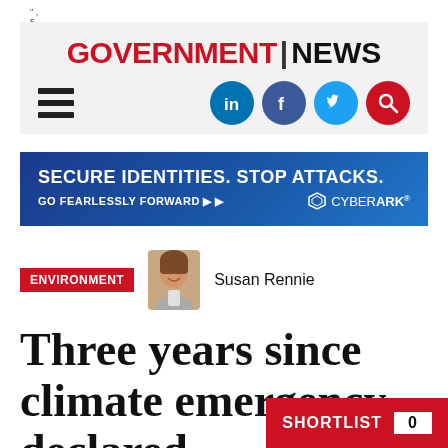GOVERNMENT | NEWS
[Figure (logo): Government News website header with logo, hamburger menu, LinkedIn, Facebook, Twitter, and Search icons on grey background]
[Figure (infographic): CyberArk advertisement banner: SECURE IDENTITIES. STOP ATTACKS. GO FEARLESSLY FORWARD >> CYBERARK]
ENVIRONMENT
[Figure (photo): Headshot of Susan Rennie, smiling woman]
Susan Rennie
Three years since climate emergency declared,